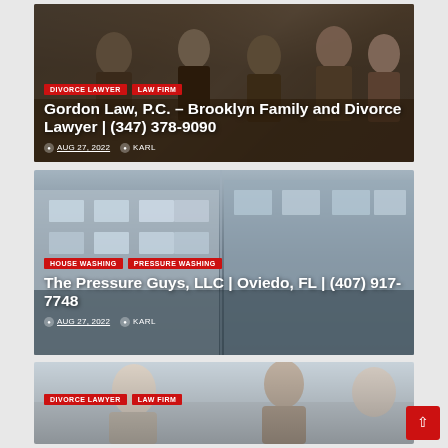[Figure (photo): Law firm group photo with professionals seated at a conference table]
DIVORCE LAWYER
LAW FIRM
Gordon Law, P.C. – Brooklyn Family and Divorce Lawyer | (347) 378-9090
AUG 27, 2022   KARL
[Figure (photo): Building exterior with windows, pressure washing company]
HOUSE WASHING
PRESSURE WASHING
The Pressure Guys, LLC | Oviedo, FL | (407) 917-7748
AUG 27, 2022   KARL
[Figure (photo): Couple smiling, appears to be wedding or family photo]
DIVORCE LAWYER
LAW FIRM